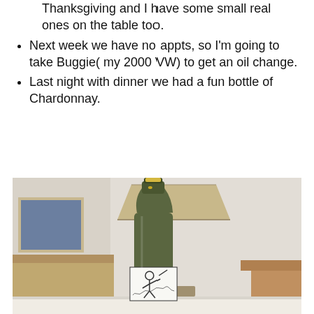Thanksgiving and I have some small real ones on the table too.
Next week we have no appts, so I'm going to take Buggie( my 2000 VW) to get an oil change.
Last night with dinner we had a fun bottle of Chardonnay.
[Figure (photo): A dark green wine bottle with a decorative label showing a warrior figure, sitting on a white surface in front of a lamp and room background.]